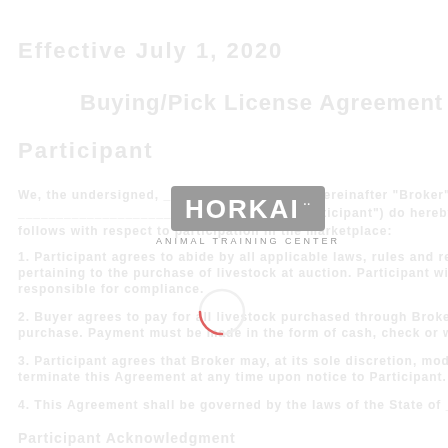[Figure (logo): Horkai Animal Training Center logo with grey rounded rectangle background, white bold text 'HORKAI' with two dots above the i, and subtitle 'ANIMAL TRAINING CENTER' in grey below]
[Figure (other): A loading spinner arc, partially drawn in pink/red on white circle outline, positioned below the logo]